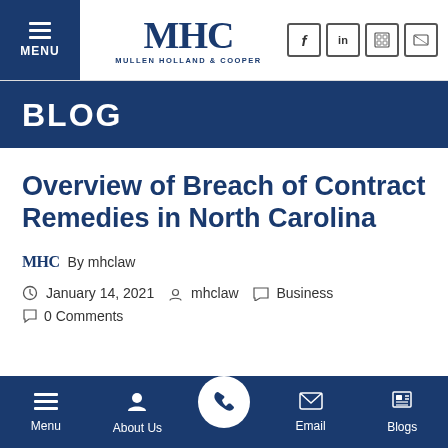MENU | MHC MULLEN HOLLAND & COOPER | [social icons: Facebook, LinkedIn, Google, Phone]
BLOG
Overview of Breach of Contract Remedies in North Carolina
MHC By mhclaw
January 14, 2021  mhclaw  Business
0 Comments
Menu  About Us  [phone]  Email  Blogs